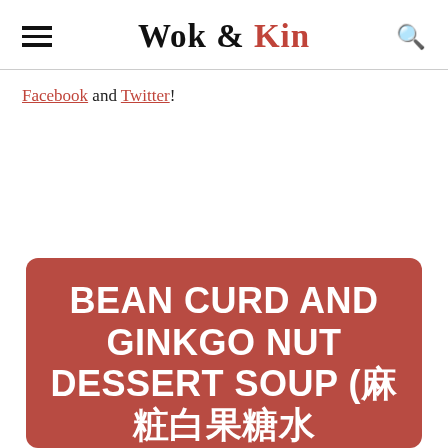Wok & Kin
Facebook and Twitter!
BEAN CURD AND GINKGO NUT DESSERT SOUP (腐竹白果糖水)